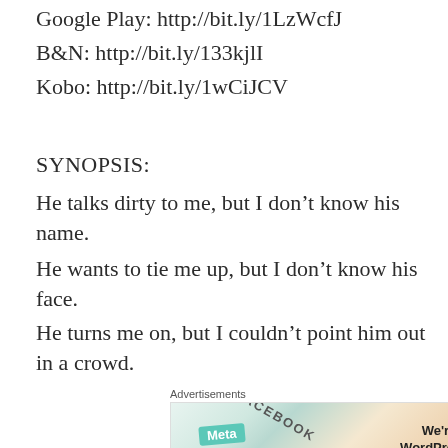Google Play: http://bit.ly/1LzWcfJ
B&N: http://bit.ly/133kjlI
Kobo: http://bit.ly/1wCiJCV
SYNOPSIS:
He talks dirty to me, but I don’t know his name.
He wants to tie me up, but I don’t know his face.
He turns me on, but I couldn’t point him out in a crowd.
[Figure (other): Advertisement image showing social media and news publication logos including Meta, Facebook, and New York Times, with text 'We’re the WordPress CMS']